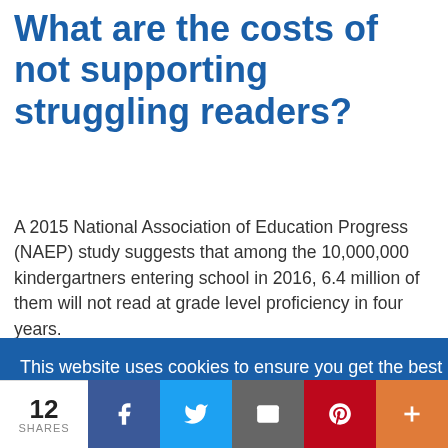What are the costs of not supporting struggling readers?
A 2015 National Association of Education Progress (NAEP) study suggests that among the 10,000,000 kindergartners entering school in 2016, 6.4 million of them will not read at grade level proficiency in four years.
[Cookie banner] This website uses cookies to ensure you get the best experience on our website. Learn more / Got it!
12 SHARES — Share bar with Facebook, Twitter, Email, Pinterest, More